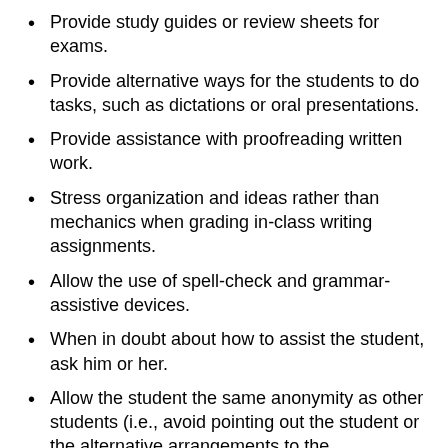Provide study guides or review sheets for exams.
Provide alternative ways for the students to do tasks, such as dictations or oral presentations.
Provide assistance with proofreading written work.
Stress organization and ideas rather than mechanics when grading in-class writing assignments.
Allow the use of spell-check and grammar-assistive devices.
When in doubt about how to assist the student, ask him or her.
Allow the student the same anonymity as other students (i.e., avoid pointing out the student or the alternative arrangements to the